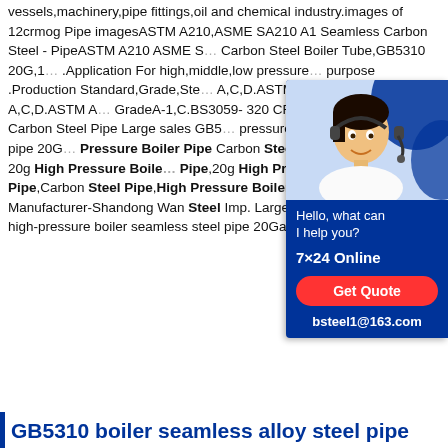vessels,machinery,pipe fittings,oil and chemical industry.images of 12crmog Pipe imagesASTM A210,ASME SA210 A1 Seamless Carbon Steel - PipeASTM A210 ASME S... Carbon Steel Boiler Tube,GB5310 20G,1... .Application For high,middle,low pressure... purpose .Production Standard,Grade,Ste... A,C,D.ASTM A179 Grade A,C,D.ASTM A... GradeA-1,C.BS3059- 320 CFSGb5310 2... Pipe Carbon Steel Pipe Large sales GB5... pressure boiler seamless steel pipe 20G... Pressure Boiler Pipe Carbon Steel Pipe... about Gb5310 20g High Pressure Boiler... Pipe,20g High Pressure Boiler Pipe,Carbon Steel Pipe,High Pressure Boiler Pipe from Supplier or Manufacturer-Shandong Wan Steel Imp. Large sales GB5310 standard high-pressure boiler seamless steel pipe 20Gamp;Exp. Co., Ltd.
[Figure (illustration): Chat widget with a customer service representative photo, 'Hello, what can I help you?' text, '7x24 Online' label, a red 'Get Quote' button, and 'bsteel1@163.com' contact email on a dark blue background.]
GB5310 boiler seamless alloy steel pipe